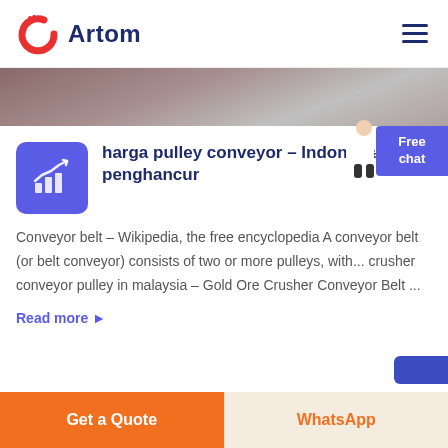Artom
[Figure (photo): Partial hero image strip showing a blurred dark/gray background, possibly hands or machinery]
harga pulley conveyor - Indonesia penghancur
Conveyor belt – Wikipedia, the free encyclopedia A conveyor belt (or belt conveyor) consists of two or more pulleys, with... crusher conveyor pulley in malaysia - Gold Ore Crusher Conveyor Belt ...
Read more ▶
Get a Quote | WhatsApp